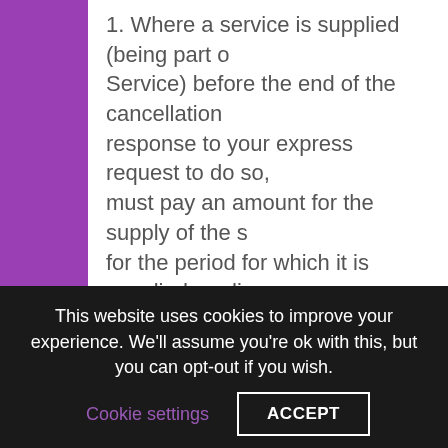1. Where a service is supplied (being part of the Service) before the end of the cancellation period in response to your express request to do so, you must pay an amount for the supply of the service for the period for which it is supplied, ending at the time when we are informed of your decision to cancel the Contract. This amount is in proportion to what has been supplied in comparison with full coverage of the Contract. This amount is calculated on the basis of the total price agreed in the Contract or, if the total price were to be excessive. on the basis of the market value
This website uses cookies to improve your experience. We'll assume you're ok with this, but you can opt-out if you wish.
Cookie settings
ACCEPT